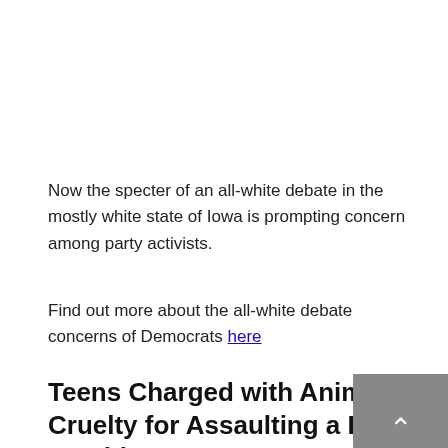Now the specter of an all-white debate in the mostly white state of Iowa is prompting concern among party activists.
Find out more about the all-white debate concerns of Democrats here
Teens Charged with Animal Cruelty for Assaulting a Deer on Video